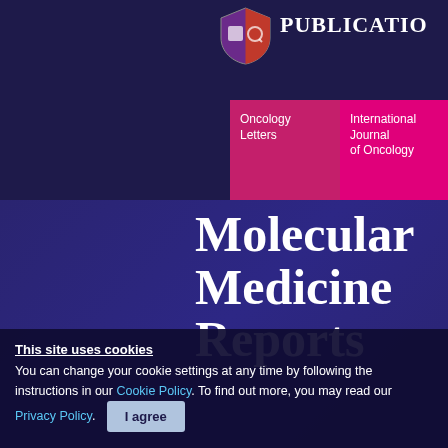[Figure (screenshot): Dark navy blue header area with a shield/crest logo and partial text 'PUBLICATIO' on the right, along with three colored journal tab panels: dark pink 'Oncology Letters', magenta 'International Journal of Oncology', and orange 'Molecular and Clinical Oncology' (partially visible)]
Molecular Medicine Reports
This site uses cookies
You can change your cookie settings at any time by following the instructions in our Cookie Policy. To find out more, you may read our Privacy Policy.